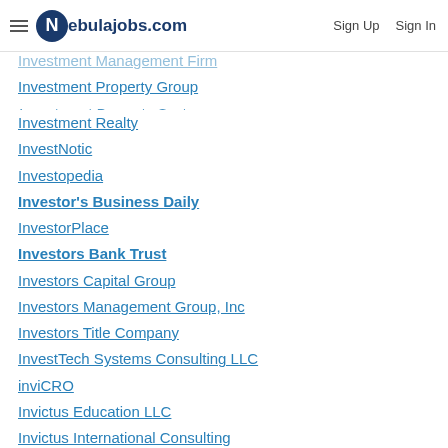Nebulajobs.com | Sign Up | Sign In
Investment Management Firm
Investment Property Group
Investment Property Systems
Investment Realty
InvestNotic
Investopedia
Investor's Business Daily
InvestorPlace
Investors Bank Trust
Investors Capital Group
Investors Management Group, Inc
Investors Title Company
InvestTech Systems Consulting LLC
inviCRO
Invictus Education LLC
Invictus International Consulting
Invisible Fence of the Big Sky, LLC
Invisik Corporation
InVision Human Services
Invista
Invista Sarl
Invisume
Invitae